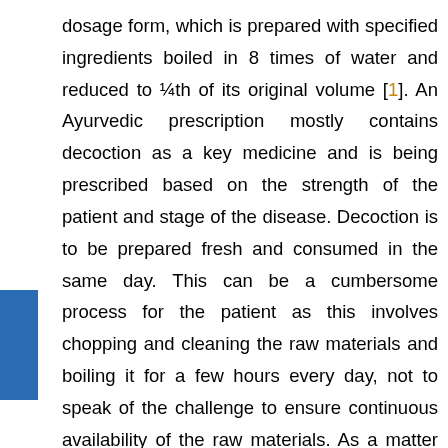dosage form, which is prepared with specified ingredients boiled in 8 times of water and reduced to ¼th of its original volume [1]. An Ayurvedic prescription mostly contains decoction as a key medicine and is being prescribed based on the strength of the patient and stage of the disease. Decoction is to be prepared fresh and consumed in the same day. This can be a cumbersome process for the patient as this involves chopping and cleaning the raw materials and boiling it for a few hours every day, not to speak of the challenge to ensure continuous availability of the raw materials. As a matter of convenience, for more than a century, the Ayurvedic industry has developed methods to prepare concentrates of the decoctions on an